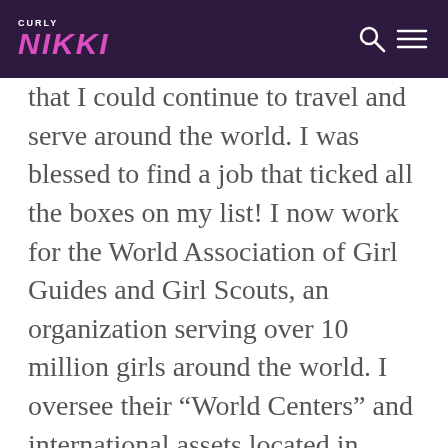CURLY NIKKI
that I could continue to travel and serve around the world. I was blessed to find a job that ticked all the boxes on my list! I now work for the World Association of Girl Guides and Girl Scouts, an organization serving over 10 million girls around the world. I oversee their “World Centers” and international assets located in London, Switzerland, Mexico, India and across the continent of Africa! Since leaving India, I’ve travelled to almost 20 different countries! Living in London is really a dream come true and I believe this is still